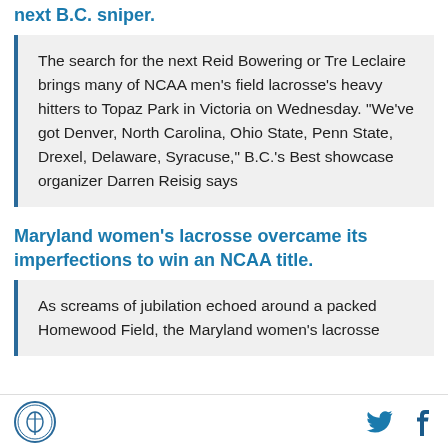next B.C. sniper.
The search for the next Reid Bowering or Tre Leclaire brings many of NCAA men's field lacrosse's heavy hitters to Topaz Park in Victoria on Wednesday. “We’ve got Denver, North Carolina, Ohio State, Penn State, Drexel, Delaware, Syracuse,” B.C.’s Best showcase organizer Darren Reisig says
Maryland women’s lacrosse overcame its imperfections to win an NCAA title.
As screams of jubilation echoed around a packed Homewood Field, the Maryland women’s lacrosse
Logo | Twitter | Facebook